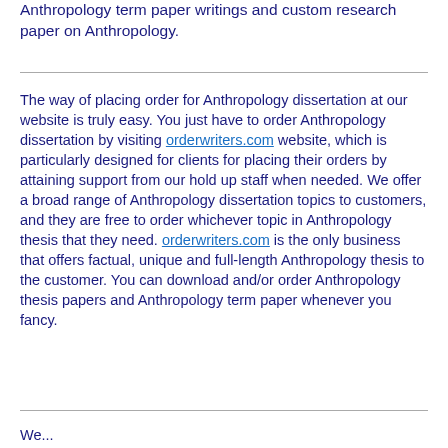Anthropology term paper writings and custom research paper on Anthropology.
The way of placing order for Anthropology dissertation at our website is truly easy. You just have to order Anthropology dissertation by visiting orderwriters.com website, which is particularly designed for clients for placing their orders by attaining support from our hold up staff when needed. We offer a broad range of Anthropology dissertation topics to customers, and they are free to order whichever topic in Anthropology thesis that they need. orderwriters.com is the only business that offers factual, unique and full-length Anthropology thesis to the customer. You can download and/or order Anthropology thesis papers and Anthropology term paper whenever you fancy.
We...